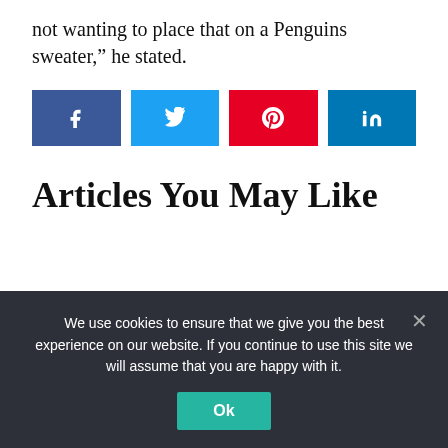not wanting to place that on a Penguins sweater,” he stated.
[Figure (infographic): Four social media share buttons: Facebook (dark blue), Twitter (light blue), Pinterest (red), LinkedIn (dark blue)]
Articles You May Like
We use cookies to ensure that we give you the best experience on our website. If you continue to use this site we will assume that you are happy with it.